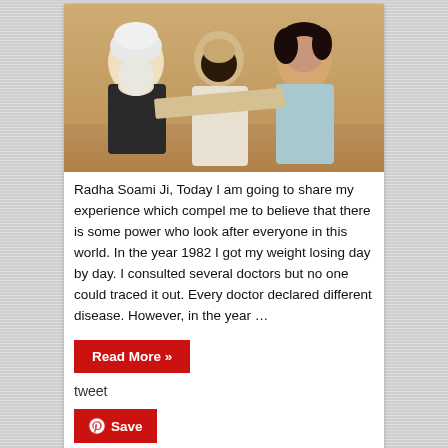[Figure (photo): Three people in a room — an elderly Sikh man in a white turban on the left, a bearded man in the middle, and a young woman with curly dark hair on the right, holding something between them.]
Radha Soami Ji, Today I am going to share my experience which compel me to believe that there is some power who look after everyone in this world. In the year 1982 I got my weight losing day by day. I consulted several doctors but no one could traced it out. Every doctor declared different disease. However, in the year …
Read More »
tweet
Save